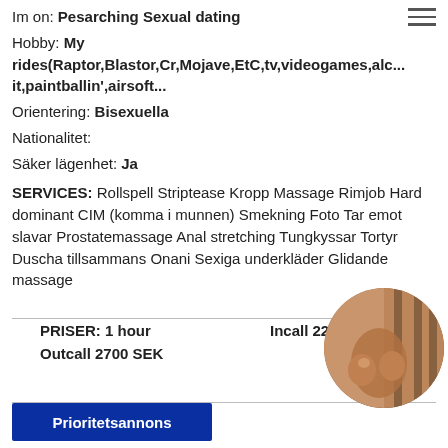Im on: Pesarching Sexual dating
Hobby: My rides(Raptor,Blastor,Cr,Mojave,EtC,tv,videogames,alc..it,paintballin',airsoft...
Orientering: Bisexuella
Nationalitet:
Säker lägenhet: Ja
SERVICES: Rollspell Striptease Kropp Massage Rimjob Hard dominant CIM (komma i munnen) Smekning Foto Tar emot slavar Prostatemassage Anal stretching Tungkyssar Tortyr Duscha tillsammans Onani Sexiga underkläder Glidande massage
PRISER: 1 hour Incall 2200 SEK Outcall 2700 SEK
[Figure (photo): Circular cropped photo of a person]
Prioritetsannons